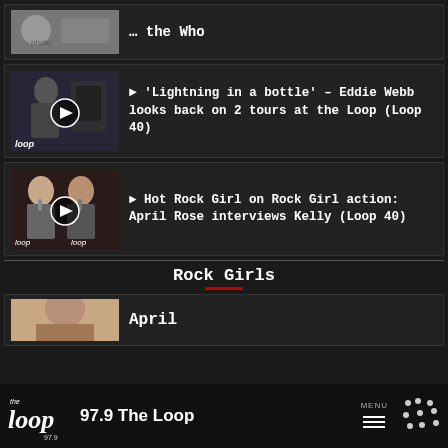[Figure (screenshot): Partial top card showing black and white photo of people and partial title text about 'the Who']
[Figure (screenshot): Video thumbnail of person in radio studio with Loop logo; play button overlay]
► 'Lightning in a bottle' – Eddie Webb looks back on 2 tours at the Loop (Loop 40)
[Figure (screenshot): Video thumbnail of two women (rock girls) with headphones and microphones; play button overlay]
► Hot Rock Girl on Rock Girl action: April Rose interviews Kelly (Loop 40)
Rock Girls
[Figure (screenshot): Partial thumbnail of woman (April)]
April
97.9 The Loop  MENU